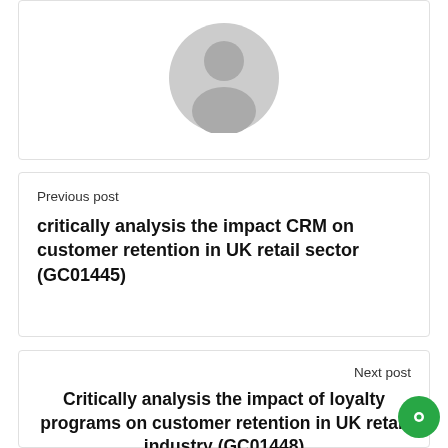[Figure (illustration): Default user avatar placeholder icon (grey silhouette of a person on white background)]
Previous post
critically analysis the impact CRM on customer retention in UK retail sector (GC01445)
Next post
Critically analysis the impact of loyalty programs on customer retention in UK retail industry (GC01448)